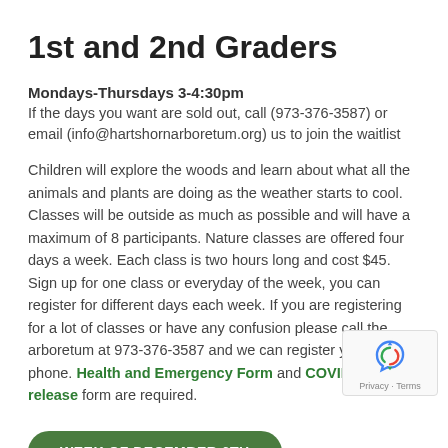1st and 2nd Graders
Mondays-Thursdays 3-4:30pm
If the days you want are sold out, call (973-376-3587) or email (info@hartshornarboretum.org) us to join the waitlist
Children will explore the woods and learn about what all the animals and plants are doing as the weather starts to cool. Classes will be outside as much as possible and will have a maximum of 8 participants. Nature classes are offered four days a week. Each class is two hours long and cost $45. Sign up for one class or everyday of the week, you can register for different days each week. If you are registering for a lot of classes or have any confusion please call the arboretum at 973-376-3587 and we can register you over the phone. Health and Emergency Form and COVID-19 release form are required.
WEEK OF DECEMBER 6TH